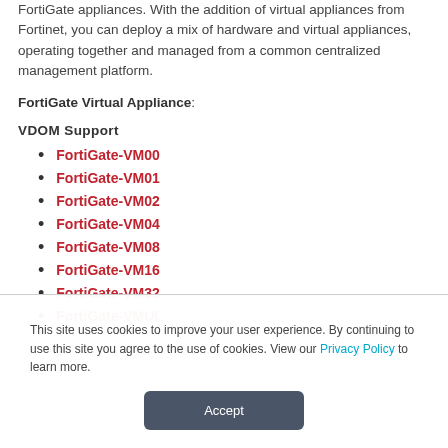FortiGate appliances. With the addition of virtual appliances from Fortinet, you can deploy a mix of hardware and virtual appliances, operating together and managed from a common centralized management platform.
FortiGate Virtual Appliance:
VDOM Support
FortiGate-VM00
FortiGate-VM01
FortiGate-VM02
FortiGate-VM04
FortiGate-VM08
FortiGate-VM16
FortiGate-VM32
FortiGate-VMUL
This site uses cookies to improve your user experience. By continuing to use this site you agree to the use of cookies. View our Privacy Policy to learn more.